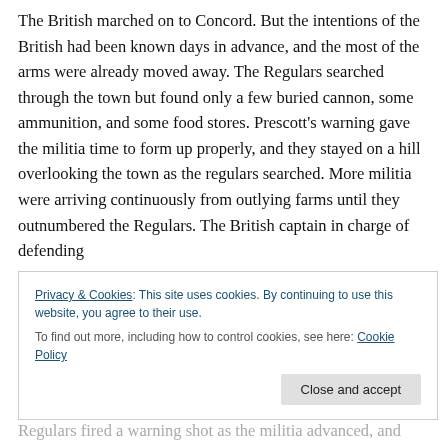The British marched on to Concord. But the intentions of the British had been known days in advance, and the most of the arms were already moved away. The Regulars searched through the town but found only a few buried cannon, some ammunition, and some food stores. Prescott's warning gave the militia time to form up properly, and they stayed on a hill overlooking the town as the regulars searched. More militia were arriving continuously from outlying farms until they outnumbered the Regulars. The British captain in charge of defending
Privacy & Cookies: This site uses cookies. By continuing to use this website, you agree to their use.
To find out more, including how to control cookies, see here: Cookie Policy
Regulars fired a warning shot as the militia advanced, and